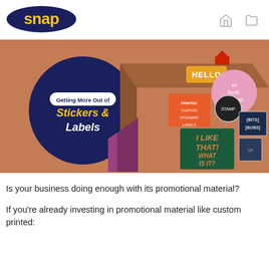[Figure (logo): Snap print logo — yellow text 'snap' on a dark navy oval/ellipse background]
[Figure (photo): Promotional hero image showing various stickers and labels on brown cardboard boxes and surfaces. A large dark navy circle on the left contains text: 'Getting More Out of Stickers & Labels'. Various stickers visible: 'HELLO' yellow label, pink circle with 'so fresh. so clean.', orange label, black circle stamp, green card with 'I LIKE THAT! WHAT IS IT?', QR code sticker, 'BITS BOBS' label. Background is a warm terracotta/brown tone.]
Is your business doing enough with its promotional material?
If you're already investing in promotional material like custom printed: